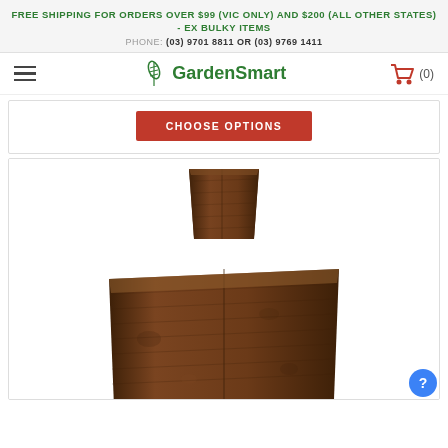FREE SHIPPING FOR ORDERS OVER $99 (VIC ONLY) AND $200 (ALL OTHER STATES) - EX BULKY ITEMS
PHONE: (03) 9701 8811 OR (03) 9769 1411
[Figure (logo): GardenSmart logo with green wheat/leaf icon and bold green text]
[Figure (photo): Two coir/coco peat compressed blocks, one small on top and one large below, brown fibrous texture on white background]
CHOOSE OPTIONS